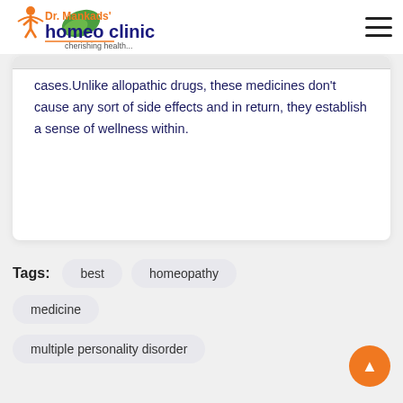[Figure (logo): Dr. Mankads' homeo clinic logo with orange figure, green leaf, and tagline 'cherishing health...']
cases.Unlike allopathic drugs, these medicines don't cause any sort of side effects and in return, they establish a sense of wellness within.
Tags: best  homeopathy  medicine  multiple personality disorder